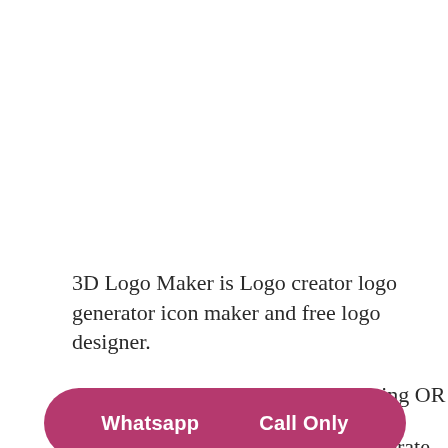3D Logo Maker is Logo creator logo generator icon maker and free logo designer.
Are You Looking For Logo Designing OR
[Figure (screenshot): Pink/magenta rounded button bar with two white text options: 'Whatsapp' and 'Call Only']
3D Logo Maker can design and generate